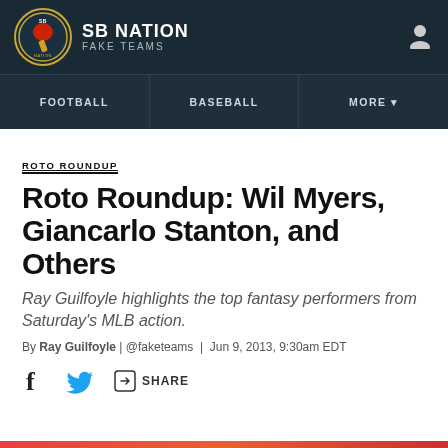SB NATION | FAKE TEAMS
FOOTBALL | BASEBALL | MORE
ROTO ROUNDUP
Roto Roundup: Wil Myers, Giancarlo Stanton, and Others
Ray Guilfoyle highlights the top fantasy performers from Saturday's MLB action.
By Ray Guilfoyle | @faketeams | Jun 9, 2013, 9:30am EDT